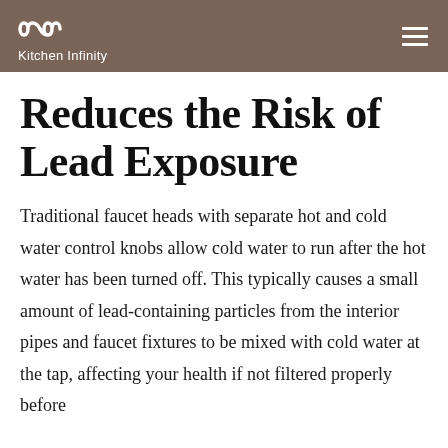Kitchen Infinity
Reduces the Risk of Lead Exposure
Traditional faucet heads with separate hot and cold water control knobs allow cold water to run after the hot water has been turned off. This typically causes a small amount of lead-containing particles from the interior pipes and faucet fixtures to be mixed with cold water at the tap, affecting your health if not filtered properly before